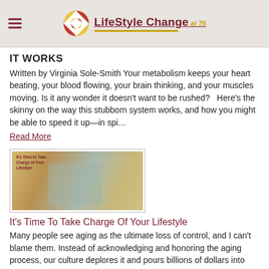LifeStyle Change at 75
IT WORKS
Written by Virginia Sole-Smith Your metabolism keeps your heart beating, your blood flowing, your brain thinking, and your muscles moving. Is it any wonder it doesn't want to be rushed?   Here's the skinny on the way this stubborn system works, and how you might be able to speed it up—in spi…
Read More
[Figure (photo): Thumbnail image showing a person in a lifestyle/exercise context with text overlay 'It's Time to Take Charge of Your Lifestyle']
It's Time To Take Charge Of Your Lifestyle
Many people see aging as the ultimate loss of control, and I can't blame them. Instead of acknowledging and honoring the aging process, our culture deplores it and pours billions of dollars into fighting it. However, it happens anyway. As a result, many of those who have aged see themselves as def…